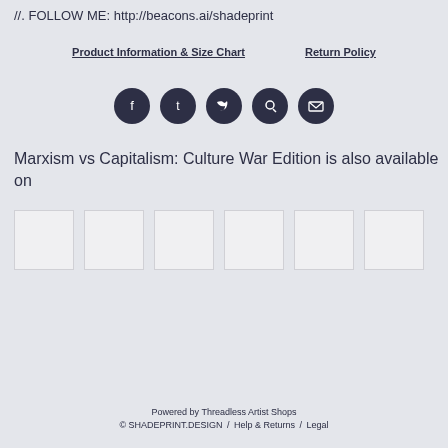//. FOLLOW ME: http://beacons.ai/shadeprint
Product Information & Size Chart     Return Policy
[Figure (infographic): Row of five dark circular social media icons: Facebook, Tumblr, Twitter, Pinterest, Email]
Marxism vs Capitalism: Culture War Edition is also available on
[Figure (infographic): Six white/light square product thumbnail images in a horizontal row]
Powered by Threadless Artist Shops © SHADEPRINT.DESIGN / Help & Returns / Legal